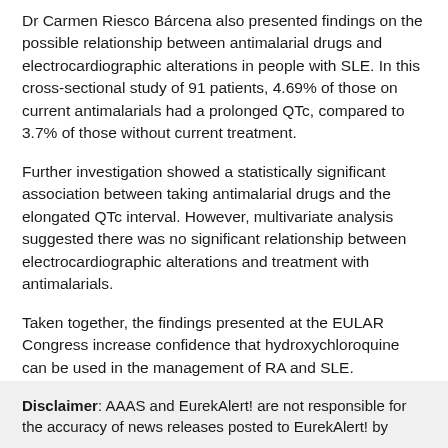Dr Carmen Riesco Bárcena also presented findings on the possible relationship between antimalarial drugs and electrocardiographic alterations in people with SLE. In this cross-sectional study of 91 patients, 4.69% of those on current antimalarials had a prolonged QTc, compared to 3.7% of those without current treatment.
Further investigation showed a statistically significant association between taking antimalarial drugs and the elongated QTc interval. However, multivariate analysis suggested there was no significant relationship between electrocardiographic alterations and treatment with antimalarials.
Taken together, the findings presented at the EULAR Congress increase confidence that hydroxychloroquine can be used in the management of RA and SLE.
Disclaimer: AAAS and EurekAlert! are not responsible for the accuracy of news releases posted to EurekAlert! by...